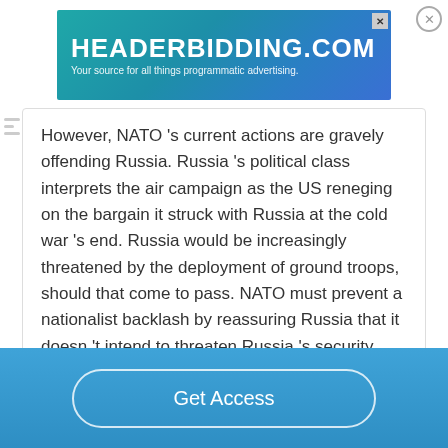[Figure (screenshot): HEADERBIDDING.COM advertisement banner — 'Your source for all things programmatic advertising.' with teal/blue gradient background and decorative elements]
However, NATO 's current actions are gravely offending Russia. Russia 's political class interprets the air campaign as the US reneging on the bargain it struck with Russia at the cold war 's end. Russia would be increasingly threatened by the deployment of ground troops, should that come to pass. NATO must prevent a nationalist backlash by reassuring Russia that it doesn 't intend to threaten Russia 's security. …
Read More
Get Access